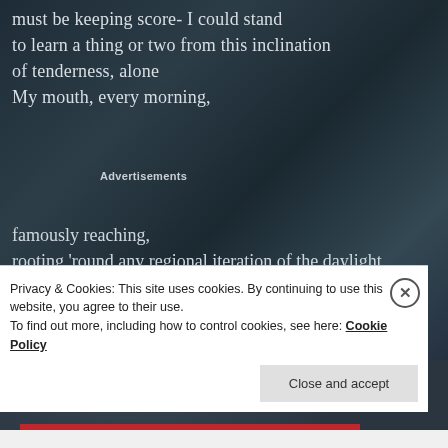must be keeping score- I could stand
to learn a thing or two from this inclination
of tenderness, alone
My mouth, every morning,
Advertisements
famously reaching,
rooting 'round any regional iteration of the daylight
To inhale a verbose evidence
Privacy & Cookies: This site uses cookies. By continuing to use this website, you agree to their use.
To find out more, including how to control cookies, see here: Cookie Policy
Close and accept